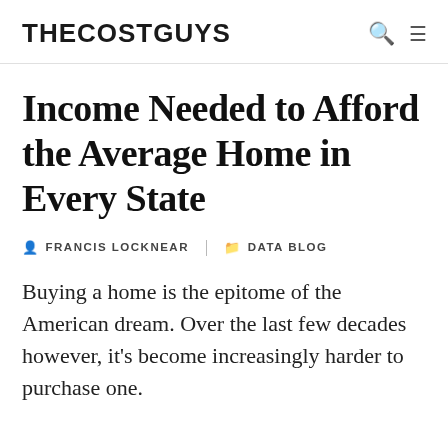THECOSTGUYS
Income Needed to Afford the Average Home in Every State
FRANCIS LOCKNEAR   DATA BLOG
Buying a home is the epitome of the American dream. Over the last few decades however, it's become increasingly harder to purchase one.